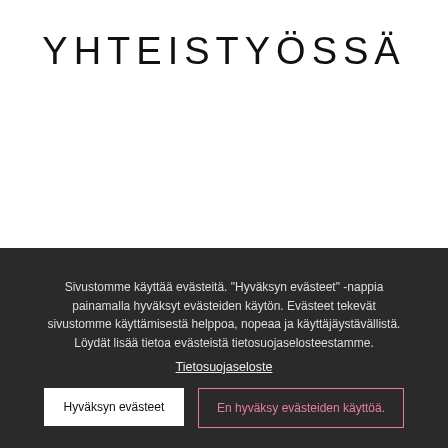YHTEISTYÖSSÄ
Sivustomme käyttää evästeitä. "Hyväksyn evästeet" -nappia painamalla hyväksyt evästeiden käytön. Evästeet tekevät sivustomme käyttämisestä helppoa, nopeaa ja käyttäjäystävällistä. Löydät lisää tietoa evästeistä tietosuojaselosteestamme.
Tietosuojaseloste
Hyväksyn evästeet
En hyväksy evästeiden käyttöä.